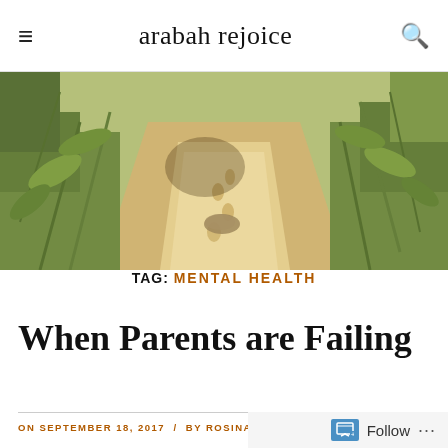arabah rejoice
[Figure (photo): Outdoor photo of a sandy dirt path with footprints, surrounded by green plants and vegetation on both sides, taken in bright sunlight.]
TAG: MENTAL HEALTH
When Parents are Failing
ON SEPTEMBER 18, 2017 / BY ROSINA / 26 COMMENTS